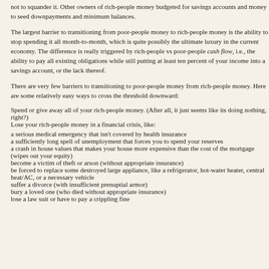not to squander it. Other owners of rich-people money budgeted for savings accounts and money to seed downpayments and minimum balances.
The largest barrier to transitioning from poor-people money to rich-people money is the ability to stop spending it all month-to-month, which is quite possibly the ultimate luxury in the current economy. The difference is really triggered by rich-people vs poor-people cash flow, i.e., the ability to pay all existing obligations while still putting at least ten percent of your income into a savings account, or the lack thereof.
There are very few barriers to transitioning to poor-people money from rich-people money. Here are some relatively easy ways to cross the threshold downward:
Spend or give away all of your rich-people money. (After all, it just seems like its doing nothing, right?)
Lose your rich-people money in a financial crisis, like:
a serious medical emergency that isn't covered by health insurance
a sufficiently long spell of unemployment that forces you to spend your reserves
a crash in house values that makes your house more expensive than the cost of the mortgage (wipes out your equity)
become a victim of theft or arson (without appropriate insurance)
be forced to replace some destroyed large appliance, like a refrigerator, hot-water heater, central heat/AC, or a necessary vehicle
suffer a divorce (with insufficient prenuptial armor)
bury a loved one (who died without appropriate insurance)
lose a law suit or have to pay a crippling fine